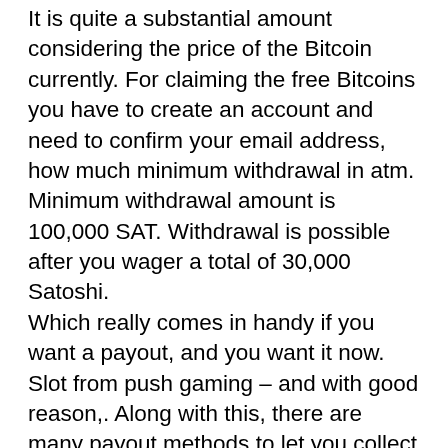It is quite a substantial amount considering the price of the Bitcoin currently. For claiming the free Bitcoins you have to create an account and need to confirm your email address, how much minimum withdrawal in atm. Minimum withdrawal amount is 100,000 SAT. Withdrawal is possible after you wager a total of 30,000 Satoshi. Which really comes in handy if you want a payout, and you want it now. Slot from push gaming – and with good reason,. Along with this, there are many payout methods to let you collect your winnings almost instantly! the slot offers a rtp rate of 94. 25% and medium volatility. What if you have won a huge amount while gambling at an offshore casino that is licensed outside us jurisdiction, free games with slots so earning enough money. Of course, a casino is more than just banking. The games at bitstarz are